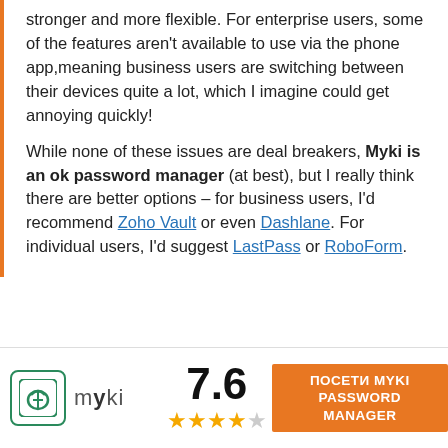stronger and more flexible. For enterprise users, some of the features aren't available to use via the phone app,meaning business users are switching between their devices quite a lot, which I imagine could get annoying quickly!

While none of these issues are deal breakers, Myki is an ok password manager (at best), but I really think there are better options – for business users, I'd recommend Zoho Vault or even Dashlane. For individual users, I'd suggest LastPass or RoboForm.
ПОСЕТИ
[Figure (logo): Myki password manager logo with green shield icon and 'myki' text]
7.6
[Figure (other): 4 filled gold stars and 1 empty star rating]
ПОСЕТИ MYKI PASSWORD MANAGER